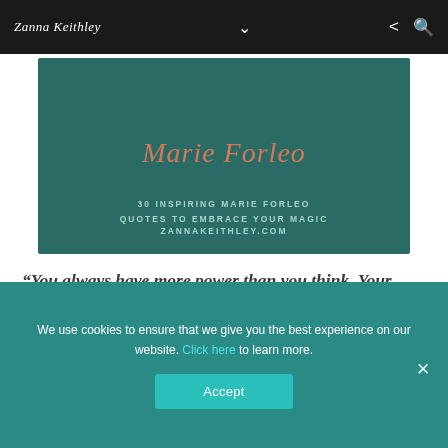Zanna Keithley
[Figure (illustration): Promotional image with teal/dark green background. 'Marie Forleo' in coral/salmon italic script at top. Below: '30 INSPIRING MARIE FORLEO QUOTES TO EMBRACE YOUR MAGIC' and 'ZANNAKEITHLEY.COM' in spaced teal uppercase text.]
“You always have more power than you think. Your mind is the most extraordinary tool you have to shape your reality.”
[Figure (illustration): Partial second teal image card visible at bottom of content area.]
We use cookies to ensure that we give you the best experience on our website. Click here to learn more.
Accept